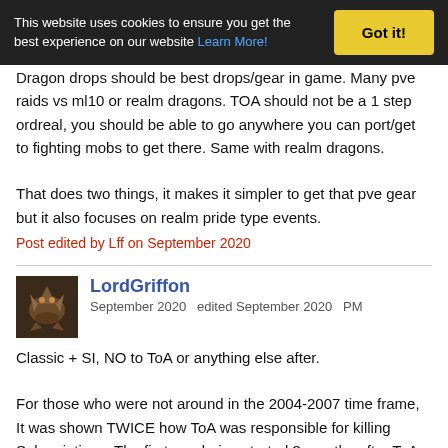This website uses cookies to ensure you get the best experience on our website Learn More! Got it!
Dragon drops should be best drops/gear in game. Many pve raids vs ml10 or realm dragons. TOA should not be a 1 step ordreal, you should be able to go anywhere you can port/get to fighting mobs to get there. Same with realm dragons.

That does two things, it makes it simpler to get that pve gear but it also focuses on realm pride type events.
Post edited by Lff on September 2020
LordGriffon
September 2020  edited September 2020  PM
Classic + SI, NO to ToA or anything else after.

For those who were not around in the 2004-2007 time frame, It was shown TWICE how ToA was responsible for killing Subscriptions. The first one being started 3 months after ToA was introduced ( this was the start of the periodic renewals not being renewed), finally culminating into 2005 after 1 year after ToA was introduced and second DAOC It was the